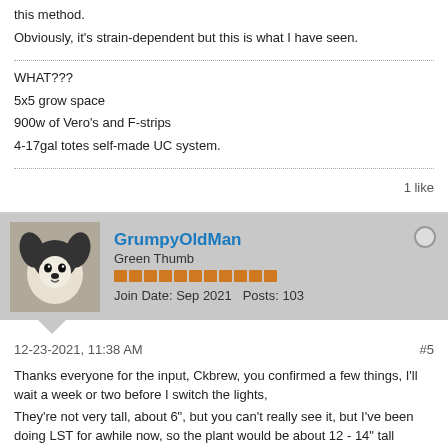this method.
Obviously, it's strain-dependent but this is what I have seen.
WHAT???
5x5 grow space
900w of Vero's and F-strips
4-17gal totes self-made UC system.
1 like
GrumpyOldMan
Green Thumb
Join Date: Sep 2021   Posts: 103
12-23-2021, 11:38 AM
#5
Thanks everyone for the input, Ckbrew, you confirmed a few things, I'll wait a week or two before I switch the lights,
They're not very tall, about 6", but you can't really see it, but I've been doing LST for awhile now, so the plant would be about 12 - 14" tall standing upright,
which also confirmed that I DO need to trim some of the fan leaves, I'm just a little leary of whacking away on my plants.
I'll trim them up and post better pictures, and as far as the white spots, that was indeed spilled food, not white mildew.